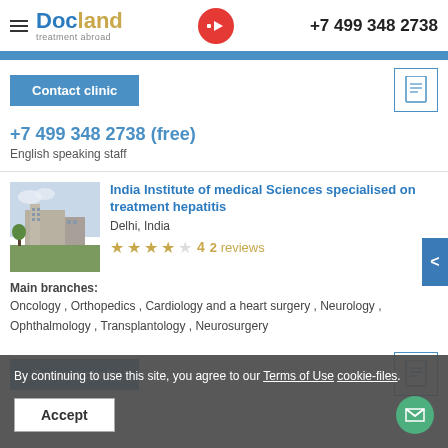[Figure (logo): Docland treatment abroad logo with hamburger menu]
+7 499 348 2738
Contact clinic
+7 499 348 2738 (free)
English speaking staff
India Institute of medical Sciences specialised on treatment hepatitis
Delhi, India
4  2 reviews
Main branches:
Oncology , Orthopedics , Cardiology and a heart surgery , Neurology , Ophthalmology , Transplantology , Neurosurgery
Contact clinic
By continuing to use this site, you agree to our Terms of Use cookie-files.
Accept